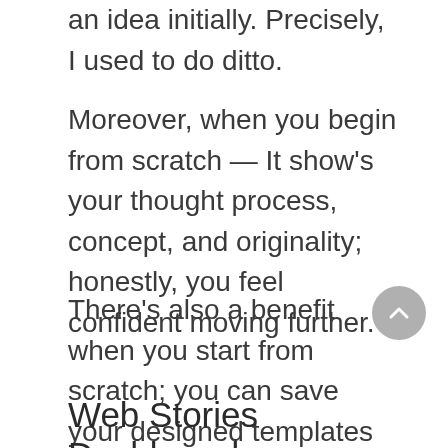an idea initially. Precisely, I used to do ditto.
Moreover, when you begin from scratch — It show's your thought process, concept, and originality; honestly, you feel confident moving further.
There's also a benefit when you start from scratch; you can save your designed templates and use them whenever you want — Eventually, that will keep your time and maintain originality.
Web Stories Dashboard